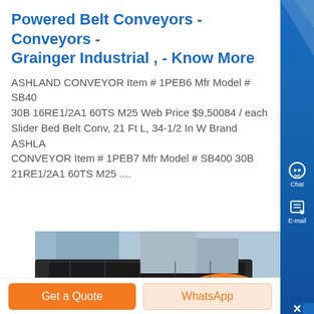Powered Belt Conveyors - Conveyors - Grainger Industrial , - Know More
ASHLAND CONVEYOR Item # 1PEB6 Mfr Model # SB400 30B 16RE1/2A1 60TS M25 Web Price $9,50084 / each Slider Bed Belt Conv, 21 Ft L, 34-1/2 In W Brand ASHLAND CONVEYOR Item # 1PEB7 Mfr Model # SB400 30B 21RE1/2A1 60TS M25 ....
[Figure (photo): Photo of industrial belt conveyor equipment outdoors, showing dark conveyor belt and orange hard hat/equipment]
Get a Quote
WhatsApp